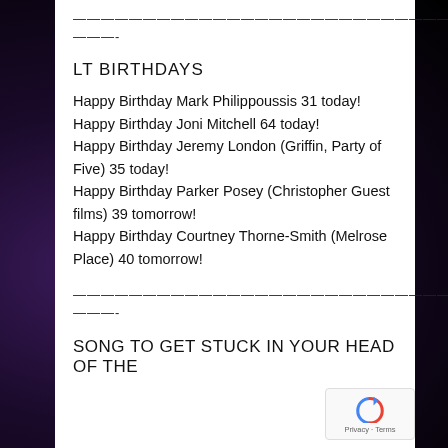————————————————————————————————
———-
LT BIRTHDAYS
Happy Birthday Mark Philippoussis 31 today!
Happy Birthday Joni Mitchell 64 today!
Happy Birthday Jeremy London (Griffin, Party of Five) 35 today!
Happy Birthday Parker Posey (Christopher Guest films) 39 tomorrow!
Happy Birthday Courtney Thorne-Smith (Melrose Place) 40 tomorrow!
————————————————————————————————
———-
SONG TO GET STUCK IN YOUR HEAD OF THE